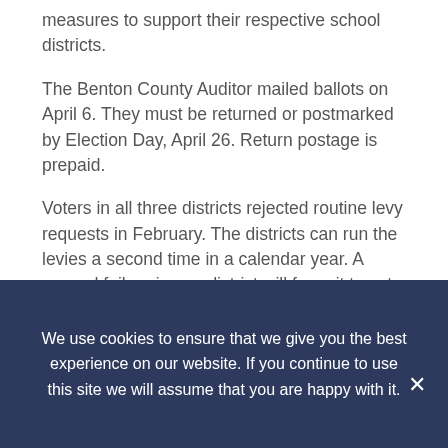measures to support their respective school districts.
The Benton County Auditor mailed ballots on April 6. They must be returned or postmarked by Election Day, April 26. Return postage is prepaid.
Voters in all three districts rejected routine levy requests in February. The districts can run the levies a second time in a calendar year. A second failure in any district will force it to cut its budget.
Individuals who are not registered to vote in Washington may register up to
8 p.m. on Election Day at the new Benton County Voting Center, 3510 McClellan Center Blvd., on the…
We use cookies to ensure that we give you the best experience on our website. If you continue to use this site we will assume that you are happy with it.